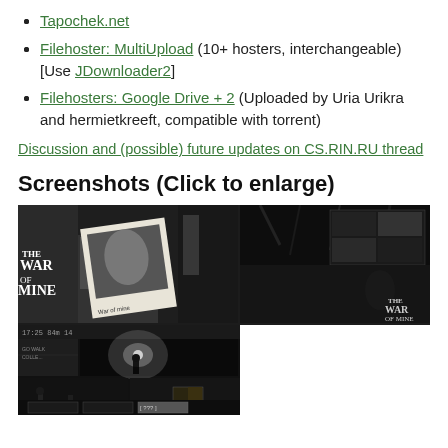Tapochek.net
Filehoster: MultiUpload (10+ hosters, interchangeable) [Use JDownloader2]
Filehosters: Google Drive + 2 (Uploaded by Uria Urikra and hermietkreeft, compatible with torrent)
Discussion and (possible) future updates on CS.RIN.RU thread
Screenshots (Click to enlarge)
[Figure (screenshot): Grid of dark video game screenshots from 'This War of Mine', showing game scenes in dark atmospheric tones with the game logo visible.]